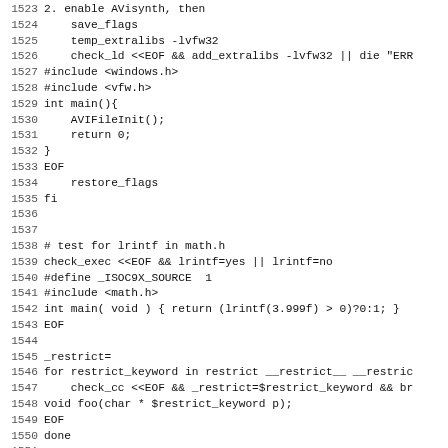Code listing lines 1523-1555: shell/autoconf script and C code snippets for AVI, lrintf, restrict keyword, and dlfcn.h probing